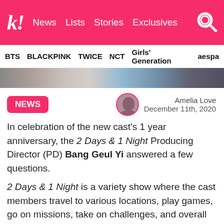k! News Lists Stories Exclusives
BTS BLACKPINK TWICE NCT Girls' Generation aespa
[Figure (photo): Partial photo of people, cropped image strip]
NEWS
Amelia Love
December 11th, 2020
In celebration of the new cast's 1 year anniversary, the 2 Days & 1 Night Producing Director (PD) Bang Geul Yi answered a few questions.
2 Days & 1 Night is a variety show where the cast members travel to various locations, play games, go on missions, take on challenges, and overall just have fun with one another. The show's current season had some major changes